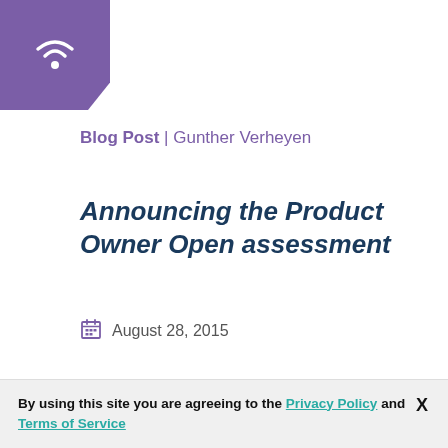[Figure (logo): Purple pentagon-shaped logo with white WiFi/signal wave icon]
Blog Post | Gunther Verheyen
Announcing the Product Owner Open assessment
August 28, 2015
The Scrum Guide begins the description of the role of the Product Owner as follows:
READ MORE
By using this site you are agreeing to the Privacy Policy and Terms of Service